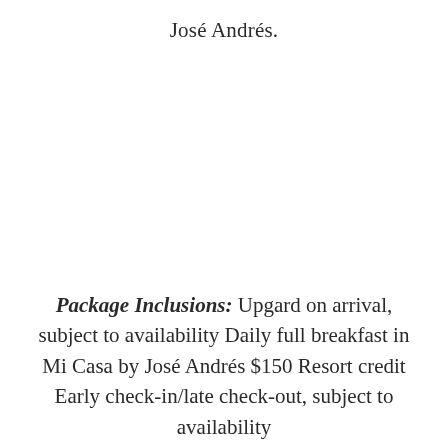José Andrés.
Package Inclusions: Upgard on arrival, subject to availability Daily full breakfast in Mi Casa by José Andrés $150 Resort credit Early check-in/late check-out, subject to availability